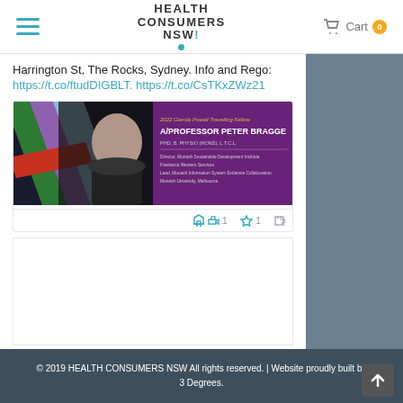Health Consumers NSW — Cart 0
Harrington St, The Rocks, Sydney. Info and Rego:
https://t.co/ftudDIGBLT. https://t.co/CsTKxZWz21
[Figure (photo): Event banner for 2022 Glenda Powell Travelling Fellow A/Professor Peter Bragge, PHD, B.PHYSIO (HONS), L.T.C.L., Director, Monash Sustainable Development Institute, Freelance Western Services, Lead, Monash Information System Evidence Collaboration, Monash University, Melbourne. Colorful diagonal stripes (green, purple, blue, red) on left with black-and-white photo of the professor.]
© 2019 HEALTH CONSUMERS NSW All rights reserved. | Website proudly built by 3 Degrees.